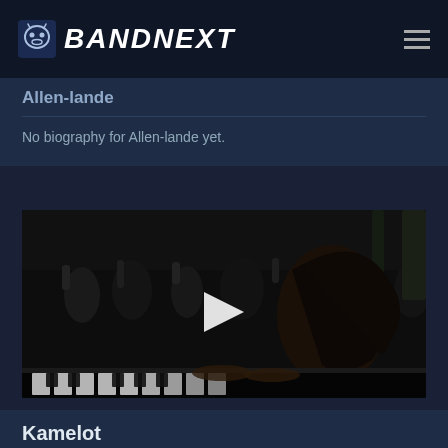BANDNEXT
Allen-lande
No biography for Allen-lande yet.
[Figure (screenshot): Video thumbnail showing a musician playing keyboard with a crowd in the background, with a play button overlay in the center.]
Kamelot